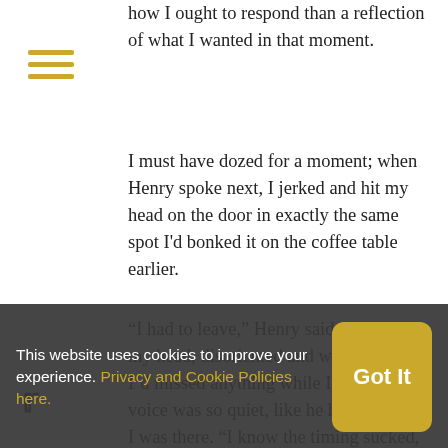[Figure (other): Hamburger menu icon with three horizontal yellow/gold lines]
how I ought to respond than a reflection of what I wanted in that moment.
I must have dozed for a moment; when Henry spoke next, I jerked and hit my head on the door in exactly the same spot I'd bonked it on the coffee table earlier.
“I had to leave,” Henry said. I rubbed my head, disoriented and wondering if I’d missed anything while I dozed. His voice was so quiet, like he had forgotten I was there. “I know the timing sucked, but I had to. It’s what I’m here for. To help people. Someone in danger, I had to go.
[Figure (other): Social media sharing icons: Twitter bird, Facebook f, Goodreads g, RSS feed, newspaper/article icon, envelope/email icon]
I shivered. Danger like a nightmare
This website uses cookies to improve your experience. Privacy and Cookie Policies here.